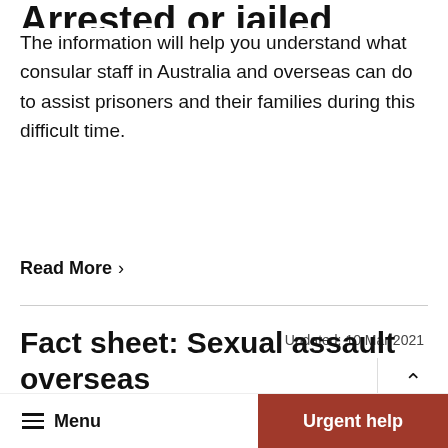Arrested or jailed overseas
The information will help you understand what consular staff in Australia and overseas can do to assist prisoners and their families during this difficult time.
Read More ›
Fact sheet: Sexual assault overseas
Updated: 10 Mar 2021
This publication provides advice on how to avoid becoming a victim of sexual assault, and advice to victims of sexual assault if it happens while
Menu   Urgent help